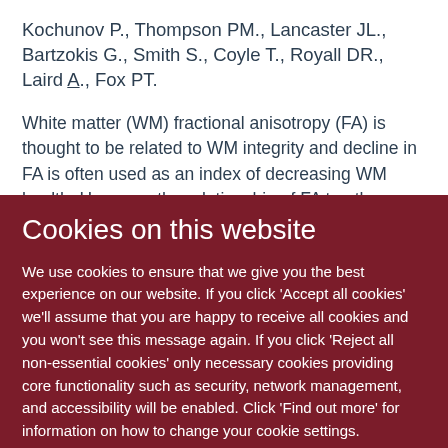Kochunov P., Thompson PM., Lancaster JL., Bartzokis G., Smith S., Coyle T., Royall DR., Laird A., Fox PT.
White matter (WM) fractional anisotropy (FA) is thought to be related to WM integrity and decline in FA is often used as an index of decreasing WM health. However, the relationship of FA to other structural indices of cerebral health has not been well studied. We hypothesized that the decline in WM health
Cookies on this website
We use cookies to ensure that we give you the best experience on our website. If you click 'Accept all cookies' we'll assume that you are happy to receive all cookies and you won't see this message again. If you click 'Reject all non-essential cookies' only necessary cookies providing core functionality such as security, network management, and accessibility will be enabled. Click 'Find out more' for information on how to change your cookie settings.